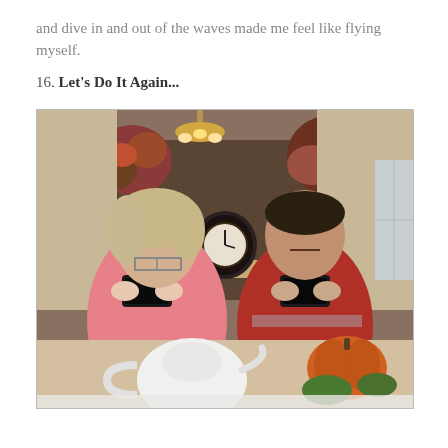and dive in and out of the waves made me feel like flying myself.
16. Let's Do It Again...
[Figure (photo): Two people at a dining table holding up smartphones to take photos. A woman on the left wearing a pink sweater and glasses, a man on the right in a red and grey striped shirt. Behind them is a fireplace mantel decorated with floral arrangements and a clock. A white teapot and pumpkin centerpiece are on the table in the foreground.]